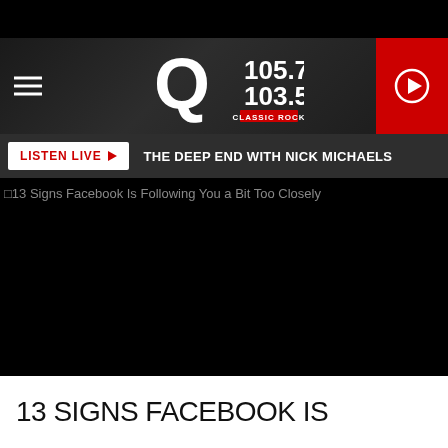[Figure (logo): Q105.7 / 103.5 Classic Rock radio station logo on dark textured background with hamburger menu on the left and red play button on the right]
LISTEN LIVE ▶  THE DEEP END WITH NICK MICHAELS
[Figure (photo): Black image area with broken image indicator and alt text: 13 Signs Facebook Is Following You a Bit Too Closely]
13 SIGNS FACEBOOK IS